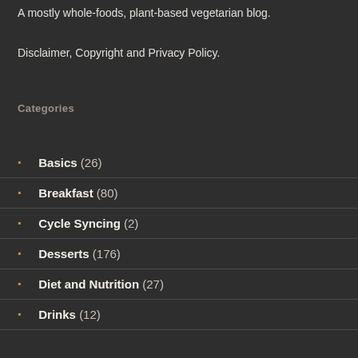A mostly whole-foods, plant-based vegetarian blog.
Disclaimer, Copyright and Privacy Policy.
Categories
Basics (26)
Breakfast (80)
Cycle Syncing (2)
Desserts (176)
Diet and Nutrition (27)
Drinks (12)